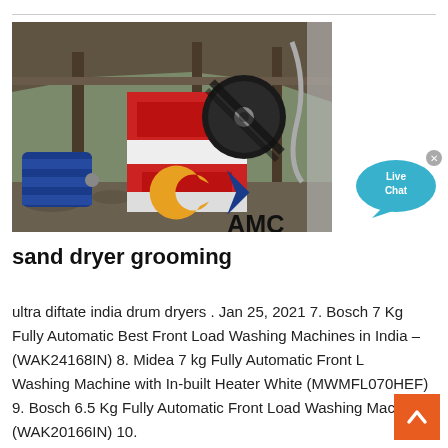[Figure (photo): Industrial crushing/grinding machinery (jaw crusher) in an outdoor industrial setting with red and white machine body, blue electric motor, belt drive, metal frame structure, and AMC logo watermark overlay.]
[Figure (infographic): Live Chat button bubble in cyan/teal color with close X, and orange/blue AMC logo watermark on the main image.]
sand dryer grooming
ultra diftate india drum dryers . Jan 25, 2021 7. Bosch 7 Kg Fully Automatic Best Front Load Washing Machines in India – (WAK24168IN) 8. Midea 7 kg Fully Automatic Front Load Washing Machine with In-built Heater White (MWMFL070HEF) 9. Bosch 6.5 Kg Fully Automatic Front Load Washing Machine (WAK20166IN) 10.